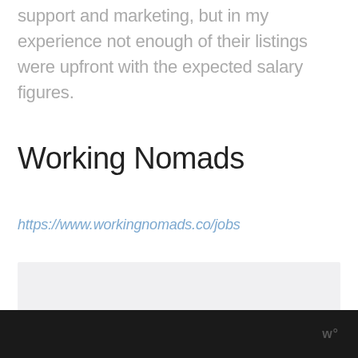support and marketing, but in my experience not enough of their listings were upfront with the expected salary figures.
Working Nomads
https://www.workingnomads.co/jobs
[Figure (screenshot): Screenshot placeholder box for Working Nomads website]
w°